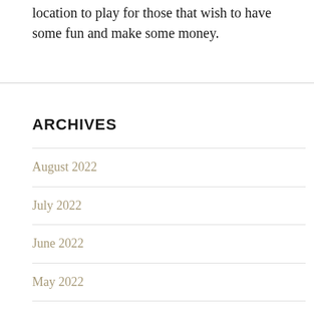location to play for those that wish to have some fun and make some money.
ARCHIVES
August 2022
July 2022
June 2022
May 2022
April 2022
March 2022